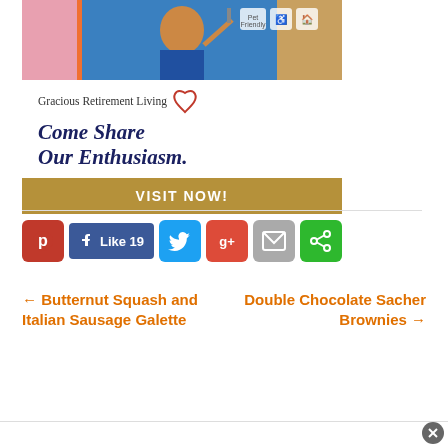[Figure (illustration): Advertisement for Gracious Retirement Living showing a smiling woman in blue uniform painting, with pet friendly and accessibility icons. Text reads 'Gracious Retirement Living Come Share Our Enthusiasm. VISIT NOW!']
[Figure (infographic): Social sharing buttons row: Pinterest (red), Facebook Like 19 (blue), Twitter (blue), Google+ (red), Email (gray), Share (green)]
← Butternut Squash and Italian Sausage Galette
Double Chocolate Sacher Brownies →